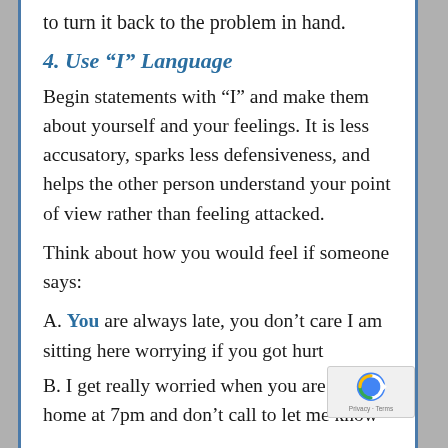to turn it back to the problem in hand.
4. Use “I” Language
Begin statements with “I” and make them about yourself and your feelings. It is less accusatory, sparks less defensiveness, and helps the other person understand your point of view rather than feeling attacked.
Think about how you would feel if someone says:
A. You are always late, you don’t care I am sitting here worrying if you got hurt
B. I get really worried when you are due home at 7pm and don’t call to let me know